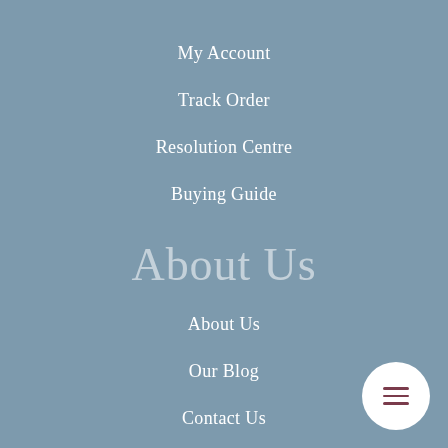My Account
Track Order
Resolution Centre
Buying Guide
About Us
About Us
Our Blog
Contact Us
Affiliates
[Figure (illustration): Circular white menu button with three horizontal dark red/maroon lines (hamburger icon) in the bottom-right corner]